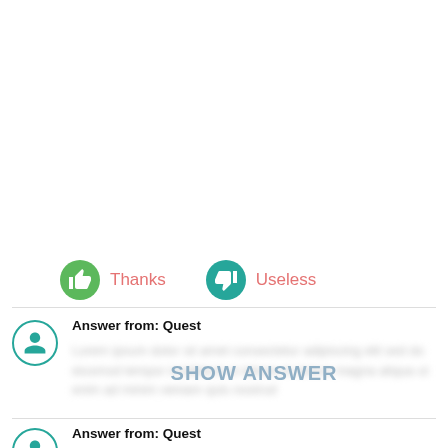[Figure (infographic): Rating buttons row with thumbs up (green) labeled Thanks and thumbs down (teal) labeled Useless]
Answer from: Quest
SHOW ANSWER
Answer from: Quest